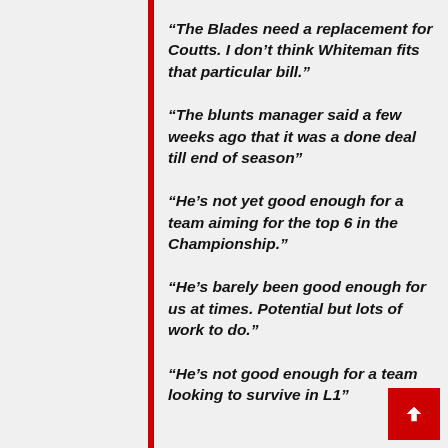“The Blades need a replacement for Coutts. I don’t think Whiteman fits that particular bill.”
“The blunts manager said a few weeks ago that it was a done deal till end of season”
“He’s not yet good enough for a team aiming for the top 6 in the Championship.”
“He’s barely been good enough for us at times. Potential but lots of work to do.”
“He’s not good enough for a team looking to survive in L1”